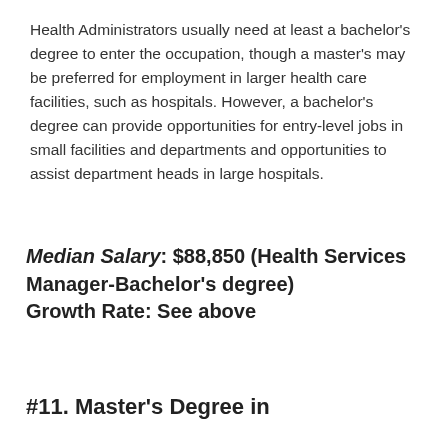Health Administrators usually need at least a bachelor's degree to enter the occupation, though a master's may be preferred for employment in larger health care facilities, such as hospitals. However, a bachelor's degree can provide opportunities for entry-level jobs in small facilities and departments and opportunities to assist department heads in large hospitals.
Median Salary: $88,850 (Health Services Manager-Bachelor's degree)
Growth Rate: See above
#11. Master's Degree in